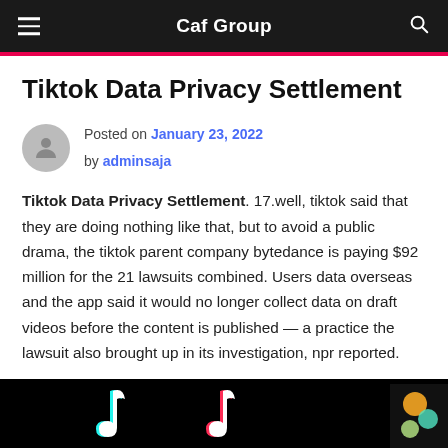Caf Group
Tiktok Data Privacy Settlement
Posted on January 23, 2022 by adminsaja
Tiktok Data Privacy Settlement. 17.well, tiktok said that they are doing nothing like that, but to avoid a public drama, the tiktok parent company bytedance is paying $92 million for the 21 lawsuits combined. Users data overseas and the app said it would no longer collect data on draft videos before the content is published — a practice the lawsuit also brought up in its investigation, npr reported.
[Figure (photo): TikTok logo on black background]